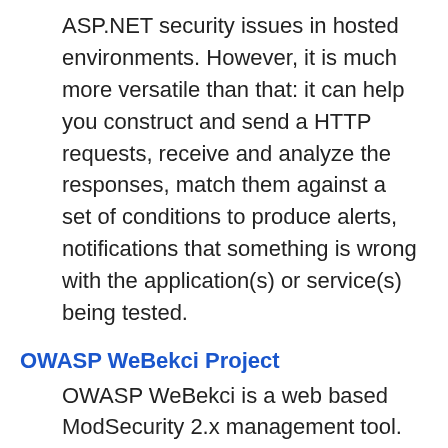ASP.NET security issues in hosted environments. However, it is much more versatile than that: it can help you construct and send a HTTP requests, receive and analyze the responses, match them against a set of conditions to produce alerts, notifications that something is wrong with the application(s) or service(s) being tested.
OWASP WeBekci Project
OWASP WeBekci is a web based ModSecurity 2.x management tool. WeBekci is written in PHP, Its backend is powered by MySQL and the frontend by